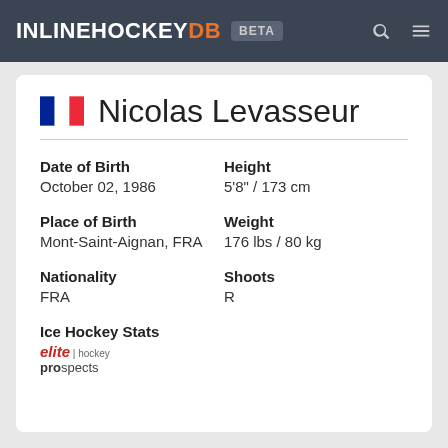INLINEHOCKEYDB BETA
Nicolas Levasseur
Date of Birth
October 02, 1986
Height
5'8" / 173 cm
Place of Birth
Mont-Saint-Aignan, FRA
Weight
176 lbs / 80 kg
Nationality
FRA
Shoots
R
Ice Hockey Stats
[Figure (logo): elitehockeyprospects logo]